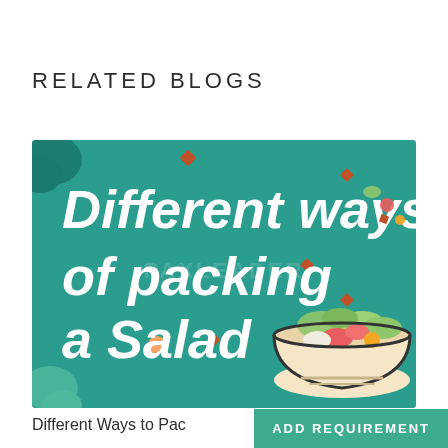RELATED BLOGS
[Figure (illustration): Blog thumbnail illustration with teal/green background featuring bold white text reading 'Different ways of packing a Salad' with a cartoon salad bowl in the bottom right corner and decorative food elements scattered around. A PAXLEADER watermark is visible in the center.]
Different Ways to Pac